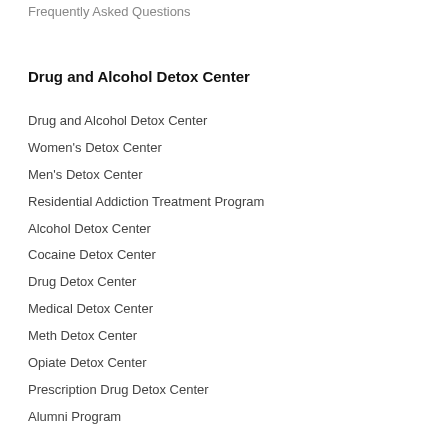Frequently Asked Questions
Drug and Alcohol Detox Center
Drug and Alcohol Detox Center
Women's Detox Center
Men's Detox Center
Residential Addiction Treatment Program
Alcohol Detox Center
Cocaine Detox Center
Drug Detox Center
Medical Detox Center
Meth Detox Center
Opiate Detox Center
Prescription Drug Detox Center
Alumni Program